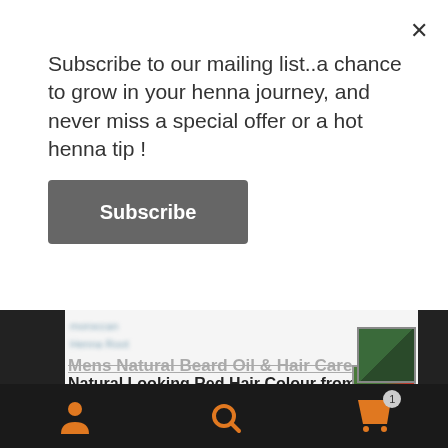Subscribe to our mailing list..a chance to grow in your henna journey, and never miss a special offer or a hot henna tip !
Subscribe
Natural Looking Red Hair Colour from Morocco
ⓘ 10 % off when you sign up to the Newsletter ! Enter your e mail address in the sign up link towards the bottom of this page & remember to click the opt in link in the confirmation e mail (check junk mail).
Dismiss
Mens Natural Beard Oil & Hair Care Oil